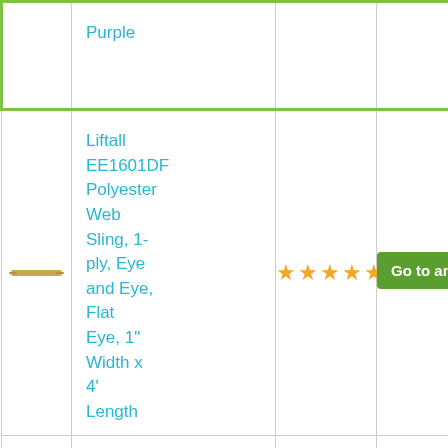| Image | Product Name | Rating | Link |
| --- | --- | --- | --- |
|  | Purple |  |  |
| [product image] | Liftall EE1601DF Polyester Web Sling, 1-ply, Eye and Eye, Flat Eye, 1" Width x 4' Length | ★★★★★ | Go to amazon |